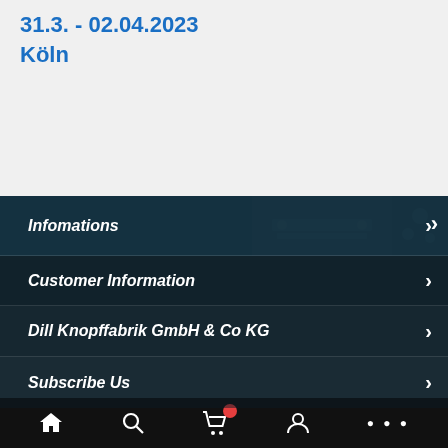31.3. - 02.04.2023
Köln
Infomations
Customer Information
Dill Knopffabrik GmbH & Co KG
Subscribe Us
Home | Search | Cart | Account | More